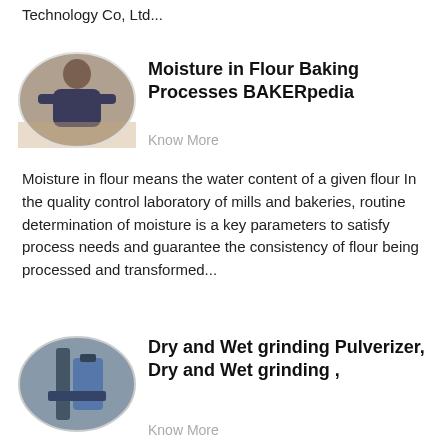Technology Co, Ltd...
[Figure (photo): Oval portrait photo of a person in a bakery/store setting]
Moisture in Flour Baking Processes BAKERpedia
Know More
Moisture in flour means the water content of a given flour In the quality control laboratory of mills and bakeries, routine determination of moisture is a key parameters to satisfy process needs and guarantee the consistency of flour being processed and transformed...
[Figure (photo): Oval photo of industrial pulverizer grinding equipment]
Dry and Wet grinding Pulverizer, Dry and Wet grinding ,
Know More